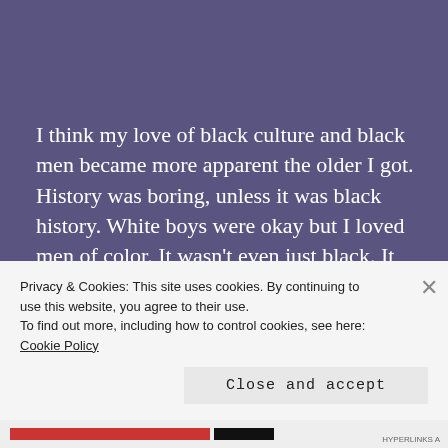I think my love of black culture and black men became more apparent the older I got. History was boring, unless it was black history. White boys were okay but I loved men of color. It wasn't even just black. It was Indian, Native American, Spanish, Cape Verdean, anyone different. I love the different looks and the bad boys, of course. 8th grade, Everett, he was skinny, tall, curly hair, class clown, missing a tooth, and I was in love.
Privacy & Cookies: This site uses cookies. By continuing to use this website, you agree to their use.
To find out more, including how to control cookies, see here: Cookie Policy
Close and accept